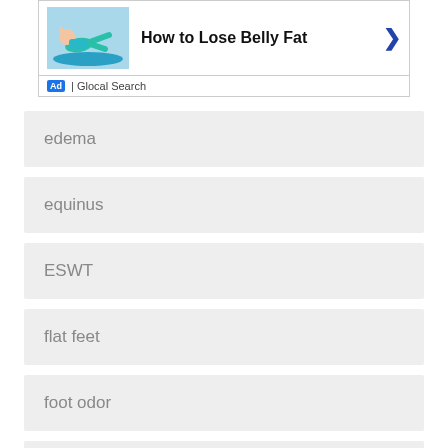[Figure (screenshot): Advertisement banner for 'How to Lose Belly Fat' with a woman exercising on a blue mat, an arrow chevron, and 'Ad | Glocal Search' footer label.]
edema
equinus
ESWT
flat feet
foot odor
fracture
Freiberg's disease